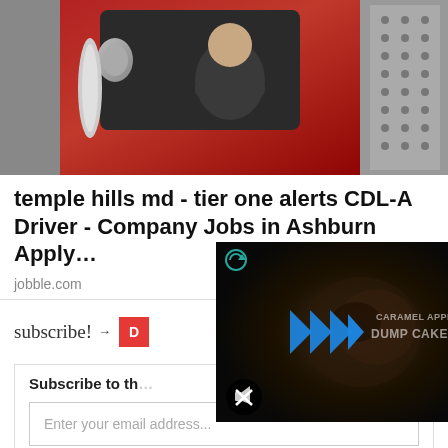[Figure (photo): A truck driver sitting in the cab of a large red truck, viewed from outside through the window, arms crossed]
temple hills md - tier one alerts CDL-A Driver - Company Jobs in Ashburn Apply…
jobble.com
[Figure (screenshot): Video player overlay showing food (caramel apple dump cake) with blue play icon, refresh icon in top left, mute button at bottom left, and text 'CARAMEL APPLE DUMP CAKE' on right side]
subscribe!
Subscribe to th…
Enter your email address...
SIGN ME UP!